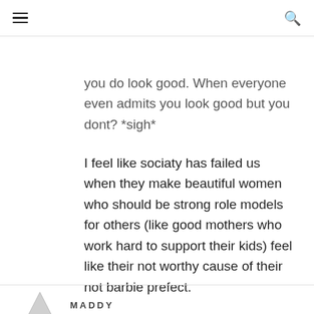≡  🔍
you do look good. When everyone even admits you look good but you dont? *sigh*
I feel like sociaty has failed us when they make beautiful women who should be strong role models for others (like good mothers who work hard to support their kids) feel like their not worthy cause of their not barbie prefect.
Reply
MADDY